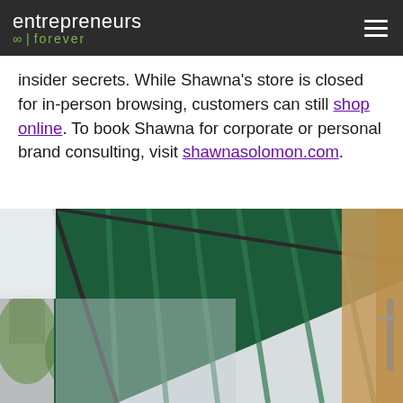entrepreneurs forever
insider secrets. While Shawna's store is closed for in-person browsing, customers can still shop online. To book Shawna for corporate or personal brand consulting, visit shawnasolomon.com.
[Figure (photo): Exterior photo of a storefront with a dark green striped awning, beige/tan siding visible on the right, blurred green trees and a building in the background on the left.]